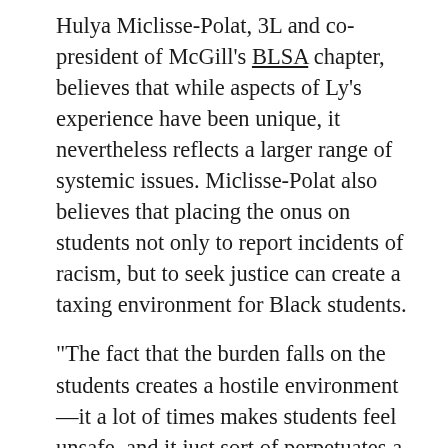Hulya Miclisse-Polat, 3L and co-president of McGill's BLSA chapter, believes that while aspects of Ly's experience have been unique, it nevertheless reflects a larger range of systemic issues. Miclisse-Polat also believes that placing the onus on students not only to report incidents of racism, but to seek justice can create a taxing environment for Black students.
“The fact that the burden falls on the students creates a hostile environment—it a lot of times makes students feel unsafe, and it just sort of perpetuates a system of exclusion at the faculty,” Miclisse-Polat said in an interview with the Tribune. “This is what we mean when we talk about systemic discrimination. A lot of times it’s done in very insidious ways, but it continues to foster a sense of